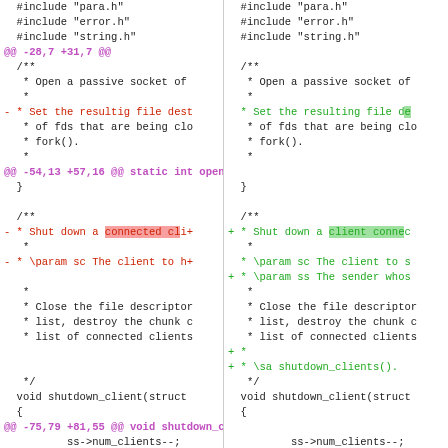[Figure (screenshot): Side-by-side diff view of C source code showing two columns (before/after). Diff includes hunk headers in magenta, removed lines in red, added lines in green, and neutral context lines in dark/black. Highlights show changed words within lines.]